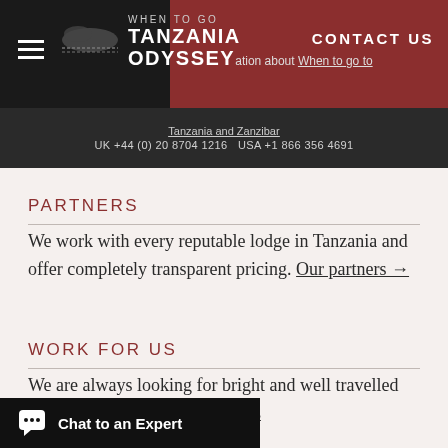WHEN TO GO / TANZANIA ODYSSEY | CONTACT US | UK +44 (0) 20 8704 1216  USA +1 866 356 4691
information about When to go to Tanzania and Zanzibar
PARTNERS
We work with every reputable lodge in Tanzania and offer completely transparent pricing. Our partners →
WORK FOR US
We are always looking for bright and well travelled graduates, feel free to contact us
Chat to an Expert